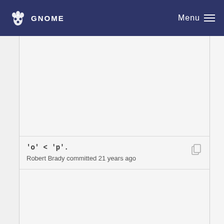GNOME  Menu
'o' < 'p'. Robert Brady committed 21 years ago